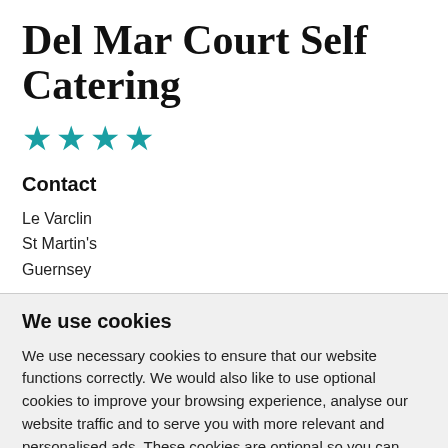Del Mar Court Self Catering
[Figure (other): Four teal/cyan star rating icons]
Contact
Le Varclin
St Martin's
Guernsey
We use cookies
We use necessary cookies to ensure that our website functions correctly. We would also like to use optional cookies to improve your browsing experience, analyse our website traffic and to serve you with more relevant and personalised ads. These cookies are optional so you can select which ones to accept by clicking 'Change my preferences'.